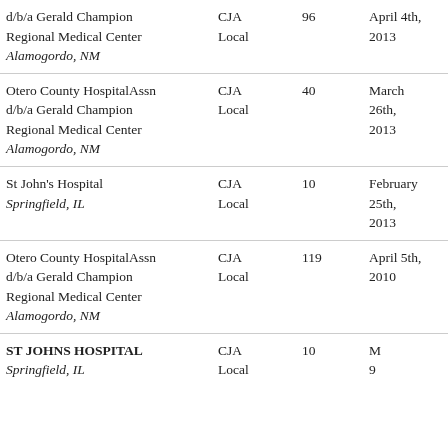| Name | Type | Num | Date |
| --- | --- | --- | --- |
| d/b/a Gerald Champion Regional Medical Center
Alamogordo, NM | CJA
Local | 96 | April 4th, 2013 |
| Otero County HospitalAssn d/b/a Gerald Champion Regional Medical Center
Alamogordo, NM | CJA
Local | 40 | March 26th, 2013 |
| St John's Hospital
Springfield, IL | CJA
Local | 10 | February 25th, 2013 |
| Otero County HospitalAssn d/b/a Gerald Champion Regional Medical Center
Alamogordo, NM | CJA
Local | 119 | April 5th, 2010 |
| ST JOHNS HOSPITAL
Springfield, IL | CJA
Local | 10 | M…
9… |